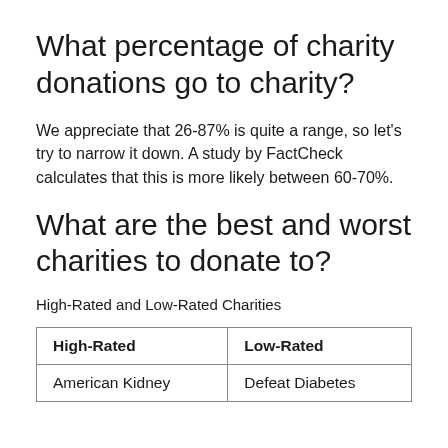What percentage of charity donations go to charity?
We appreciate that 26-87% is quite a range, so let's try to narrow it down. A study by FactCheck calculates that this is more likely between 60-70%.
What are the best and worst charities to donate to?
High-Rated and Low-Rated Charities
| High-Rated | Low-Rated |
| --- | --- |
| American Kidney | Defeat Diabetes |